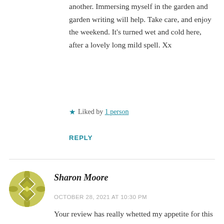another. Immersing myself in the garden and garden writing will help. Take care, and enjoy the weekend. It's turned wet and cold here, after a lovely long mild spell. Xx
★ Liked by 1 person
REPLY
Sharon Moore
OCTOBER 28, 2021 AT 10:30 PM
Your review has really whetted my appetite for this book. So sorry that you've been in a sad place. Sending love and healing hugs to you Karen. Glad that you're wanting to write again.